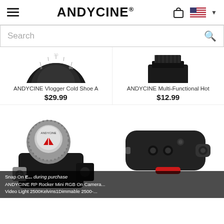ANDYCINE® (navigation bar with hamburger menu, cart, and US flag)
Search
[Figure (photo): ANDYCINE Vlogger Cold Shoe Adapter product photo (top portion visible, black dial/lens-like object)]
ANDYCINE Vlogger Cold Shoe A...
$29.99
[Figure (photo): ANDYCINE Multi-Functional Hot Shoe product photo (top portion visible, black plastic mount)]
ANDYCINE Multi-Functional Hot
$12.99
[Figure (photo): ANDYCINE RP Rocker Mini RGB On Camera Video Light product - silver and black dial/knob camera accessory]
[Figure (photo): Black camera accessory plate with red release lever]
Snap On E... during purchase... ANDYCINE RP Rocker Mini RGB On Camera... Video Light 2500Kelvin 1Dimmable 2500-...